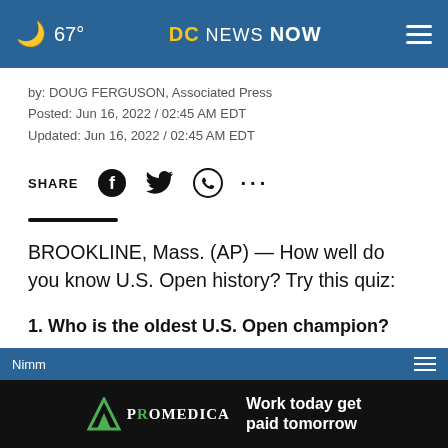67° DC NEWS NOW
by: DOUG FERGUSON, Associated Press
Posted: Jun 16, 2022 / 02:45 AM EDT
Updated: Jun 16, 2022 / 02:45 AM EDT
SHARE (social icons: Facebook, Twitter, WhatsApp, more)
BROOKLINE, Mass. (AP) — How well do you know U.S. Open history? Try this quiz:
1. Who is the oldest U.S. Open champion?
a.) Julius Boros
[Figure (logo): ProMedica logo with green arrow and text 'Work today get paid tomorrow']